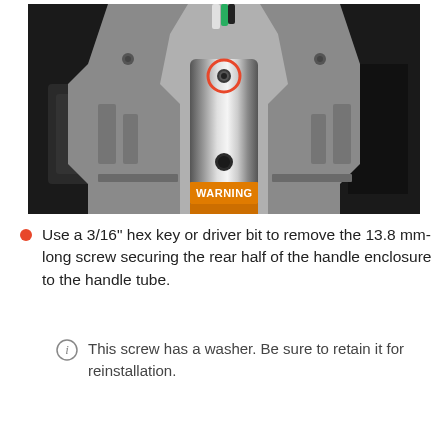[Figure (photo): Close-up photo of a handle tube assembly with a silver cylindrical tube mounted to a grey plastic handle enclosure. A red-circled screw is visible at the top of the tube where it meets the enclosure. Electrical wires (white, green, black) exit from the top. An orange WARNING label band is visible near the bottom of the tube. The background is dark/black.]
Use a 3/16" hex key or driver bit to remove the 13.8 mm-long screw securing the rear half of the handle enclosure to the handle tube.
This screw has a washer. Be sure to retain it for reinstallation.